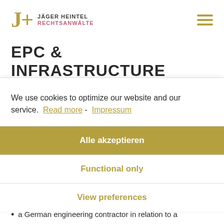JÄGER HEINTEL RECHTSANWÄLTE
EPC & INFRASTRUCTURE
We recently advised:
We use cookies to optimize our website and our service.  Read more -  Impressum
Alle akzeptieren
Functional only
View preferences
a German engineering contractor in relation to a